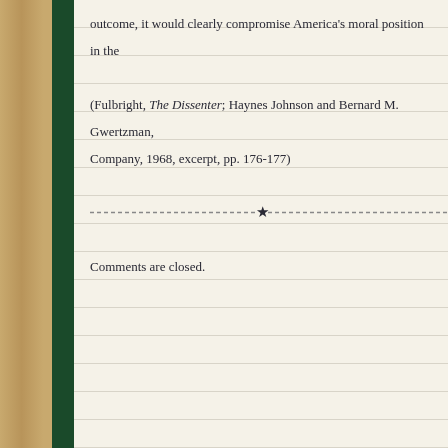outcome, it would clearly compromise America's moral position in the
(Fulbright, The Dissenter; Haynes Johnson and Bernard M. Gwertzman, Company, 1968, excerpt, pp. 176-177)
Comments are closed.